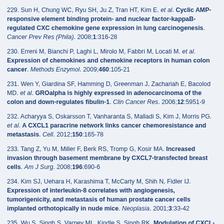229. Sun H, Chung WC, Ryu SH, Ju Z, Tran HT, Kim E. et al. Cyclic AMP-responsive element binding protein- and nuclear factor-kappaB-regulated CXC chemokine gene expression in lung carcinogenesis. Cancer Prev Res (Phila). 2008;1:316-28
230. Erreni M, Bianchi P, Laghi L, Mirolo M, Fabbri M, Locati M. et al. Expression of chemokines and chemokine receptors in human colon cancer. Methods Enzymol. 2009;460:105-21
231. Wen Y, Giardina SF, Hamming D, Greenman J, Zachariah E, Bacolod MD. et al. GROalpha is highly expressed in adenocarcinoma of the colon and down-regulates fibulin-1. Clin Cancer Res. 2006;12:5951-9
232. Acharyya S, Oskarsson T, Vanharanta S, Malladi S, Kim J, Morris PG. et al. A CXCL1 paracrine network links cancer chemoresistance and metastasis. Cell. 2012;150:165-78
233. Tang Z, Yu M, Miller F, Berk RS, Tromp G, Kosir MA. Increased invasion through basement membrane by CXCL7-transfected breast cells. Am J Surg. 2008;196:690-6
234. Kim SJ, Uehara H, Karashima T, McCarty M, Shih N, Fidler IJ. Expression of interleukin-8 correlates with angiogenesis, tumorigenicity, and metastasis of human prostate cancer cells implanted orthotopically in nude mice. Neoplasia. 2001;3:33-42
235. Wu S, Singh S, Varney ML, Kindle S, Singh RK. Modulation of CXCL-8 expression in human melanoma cells regulates tumor growth, angiogenesis, invasion, and metastasis. Cancer Med. 2012;1:306-17